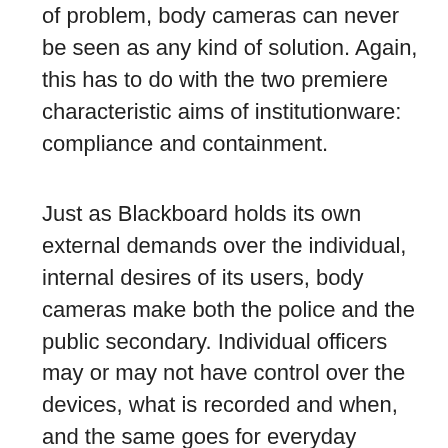of problem, body cameras can never be seen as any kind of solution. Again, this has to do with the two premiere characteristic aims of institutionware: compliance and containment.
Just as Blackboard holds its own external demands over the individual, internal desires of its users, body cameras make both the police and the public secondary. Individual officers may or may not have control over the devices, what is recorded and when, and the same goes for everyday citizens. There are also substantial and valid concerns over the storage, analysis, and dissemination of body-cam footage as well as associated monetary costs. Such concerns are left unaddressed even in light of knowledge that Taser International, a company whose successes have direct ties to the police as an institution, is one of the technology companies often responsible for access and